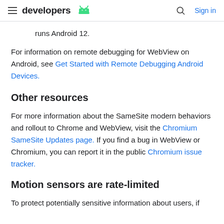developers [android logo] | Search | Sign in
runs Android 12.
For information on remote debugging for WebView on Android, see Get Started with Remote Debugging Android Devices.
Other resources
For more information about the SameSite modern behaviors and rollout to Chrome and WebView, visit the Chromium SameSite Updates page. If you find a bug in WebView or Chromium, you can report it in the public Chromium issue tracker.
Motion sensors are rate-limited
To protect potentially sensitive information about users, if